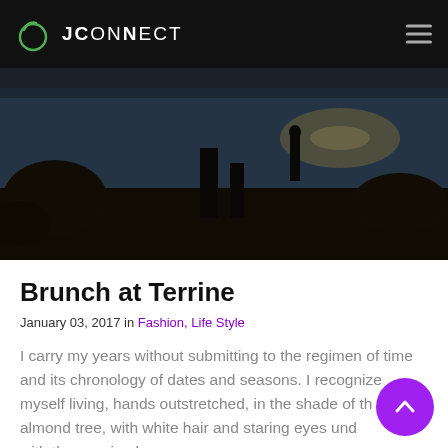JConnect
[Figure (photo): Outdoor coastal scene with rocks, dark silhouettes, and a body of water with sunlight reflecting on the surface in the background.]
Brunch at Terrine
January 03, 2017 in Fashion, Life Style
I carry my years without submitting to the regimen of time and its chronology of dates and seasons. I recognize myself living, hands outstretched, in the shade of the almond tree, with white hair and staring eyes undisturbed with the passing hours. ...